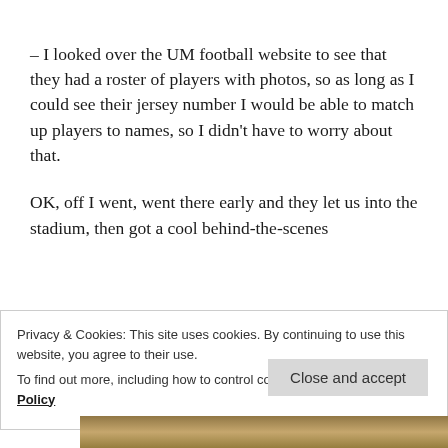– I looked over the UM football website to see that they had a roster of players with photos, so as long as I could see their jersey number I would be able to match up players to names, so I didn't have to worry about that.
OK, off I went, went there early and they let us into the stadium, then got a cool behind-the-scenes
Privacy & Cookies: This site uses cookies. By continuing to use this website, you agree to their use.
To find out more, including how to control cookies, see here: Cookie Policy
Close and accept
[Figure (photo): Partial photo strip at bottom of page showing what appears to be a sports crowd or stadium scene]